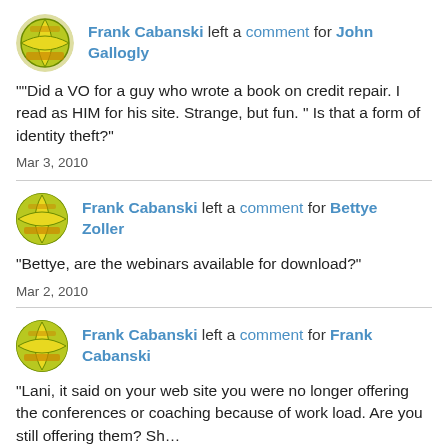Frank Cabanski left a comment for John Gallogly
""Did a VO for a guy who wrote a book on credit repair. I read as HIM for his site. Strange, but fun. " Is that a form of identity theft?"
Mar 3, 2010
Frank Cabanski left a comment for Bettye Zoller
"Bettye, are the webinars available for download?"
Mar 2, 2010
Frank Cabanski left a comment for Frank Cabanski
"Lani, it said on your web site you were no longer offering the conferences or coaching because of work load. Are you still offering them? Sh...